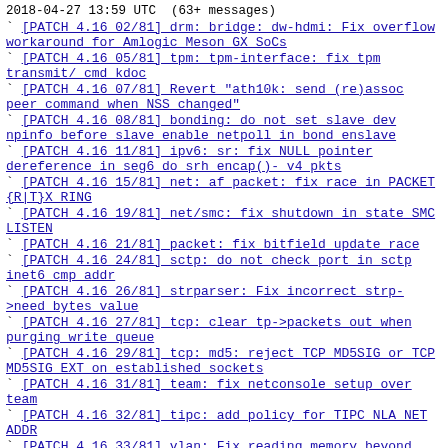2018-04-27 13:59 UTC  (63+ messages)
[PATCH 4.16 02/81] drm: bridge: dw-hdmi: Fix overflow workaround for Amlogic Meson GX SoCs
[PATCH 4.16 05/81] tpm: tpm-interface: fix tpm transmit/ cmd kdoc
[PATCH 4.16 07/81] Revert "ath10k: send (re)assoc peer command when NSS changed"
[PATCH 4.16 08/81] bonding: do not set slave dev npinfo before slave enable netpoll in bond enslave
[PATCH 4.16 11/81] ipv6: sr: fix NULL pointer dereference in seg6 do srh encap()- v4 pkts
[PATCH 4.16 15/81] net: af packet: fix race in PACKET {R|T}X RING
[PATCH 4.16 19/81] net/smc: fix shutdown in state SMC LISTEN
[PATCH 4.16 21/81] packet: fix bitfield update race
[PATCH 4.16 24/81] sctp: do not check port in sctp inet6 cmp addr
[PATCH 4.16 26/81] strparser: Fix incorrect strp->need bytes value
[PATCH 4.16 27/81] tcp: clear tp->packets out when purging write queue
[PATCH 4.16 29/81] tcp: md5: reject TCP MD5SIG or TCP MD5SIG EXT on established sockets
[PATCH 4.16 31/81] team: fix netconsole setup over team
[PATCH 4.16 32/81] tipc: add policy for TIPC NLA NET ADDR
[PATCH 4.16 33/81] vlan: Fix reading memory beyond skb->tail in skb vlan tagged multi
[PATCH 4.16 35/81] ...